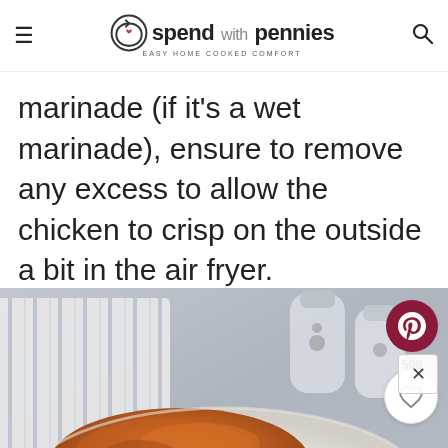spend with pennies — Easy Home Cooked Comfort
marinade (if it's a wet marinade), ensure to remove any excess to allow the chicken to crisp on the outside a bit in the air fryer.
[Figure (photo): Photo of cooked seasoned chicken pieces in a white bowl, with salt and pepper shakers and a striped cloth napkin visible in the background on a gray surface. A Pinterest save button (508 saves) and heart/save icon are overlaid on the right side.]